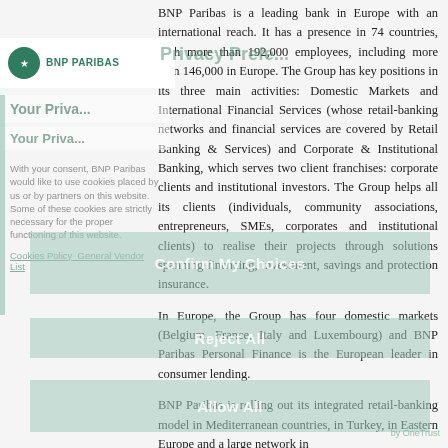BNP PARIBAS
Privacy Prefe...
BNP Paribas is a leading bank in Europe with an international reach. It has a presence in 74 countries, with more than 192,000 employees, including more than 146,000 in Europe. The Group has key positions in its three main activities: Domestic Markets and International Financial Services (whose retail-banking networks and financial services are covered by Retail Banking & Services) and Corporate & Institutional Banking, which serves two client franchises: corporate clients and institutional investors. The Group helps all its clients (individuals, community associations, entrepreneurs, SMEs, corporates and institutional clients) to realise their projects through solutions spanning financing, investment, savings and protection insurance.
Your Privacy...
Your Priva...
With your consent, BNP Paribas would like to use cookies placed by us or by partners on this website. Some of these cookies are strictly necessary for the proper functioning of this website.
Cookies Policy  General Vendor List
Confirm My Choices
In Europe, the Group has four domestic markets (Belgium, France, Italy and Luxembourg) and BNP Paribas Personal Finance is the European leader in consumer lending.
Reject All
Allow All
BNP Paribas is rolling out its integrated retail-banking model in Mediterranean countries, in Turkey, in Eastern Europe and a large network in
by OneTrust